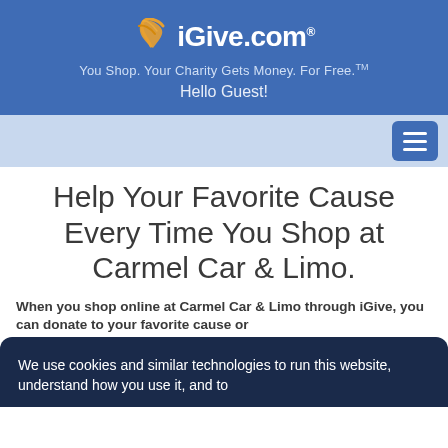iGive.com
You Shop. Your Charity Gets Money. For Free.™
Hello Guest!
Help Your Favorite Cause Every Time You Shop at Carmel Car & Limo.
When you shop online at Carmel Car & Limo through iGive, you can donate to your favorite cause or
We use cookies and similar technologies to run this website, understand how you use it, and to